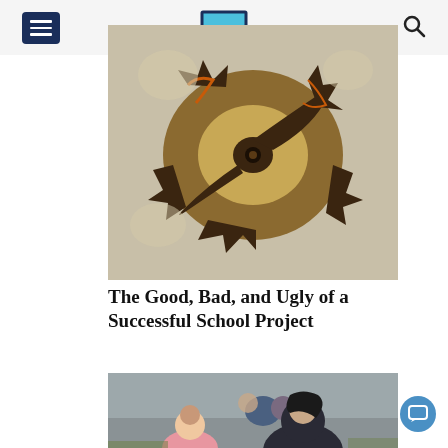U (logo) — navigation header with hamburger menu and search icon
[Figure (photo): Close-up artistic/filtered photo of a mechanical gear or fossil with dark brown and tan tones, appearing as an abstract close-up]
The Good, Bad, and Ugly of a Successful School Project
[Figure (photo): Outdoor photo of students sitting on the ground, working on a school project; a girl in a pink shirt and a student in a dark hoodie are visible in the foreground]